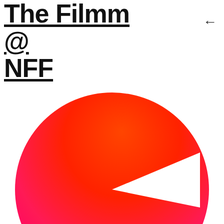The Filmm @ NFF
[Figure (logo): Nederlands Film Festival logo: a large circle with a red-to-pink gradient background, a white triangular wedge shape in the upper right, and bold white text reading 'Nederlands Film Festival' in the lower portion.]